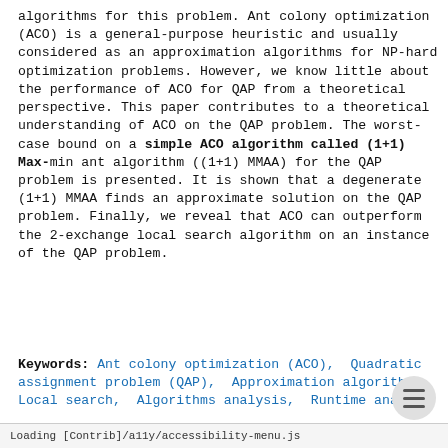algorithms for this problem. Ant colony optimization (ACO) is a general-purpose heuristic and usually considered as an approximation algorithms for NP-hard optimization problems. However, we know little about the performance of ACO for QAP from a theoretical perspective. This paper contributes to a theoretical understanding of ACO on the QAP problem. The worst-case bound on a simple ACO algorithm called (1+1) Max-min ant algorithm ((1+1) MMAA) for the QAP problem is presented. It is shown that a degenerate (1+1) MMAA finds an approximate solution on the QAP problem. Finally, we reveal that ACO can outperform the 2-exchange local search algorithm on an instance of the QAP problem.
Keywords: Ant colony optimization (ACO),  Quadratic assignment problem (QAP),  Approximation algorithms,  Local search,  Algorithms analysis,  Runtime analysis
Loading [Contrib]/a11y/accessibility-menu.js